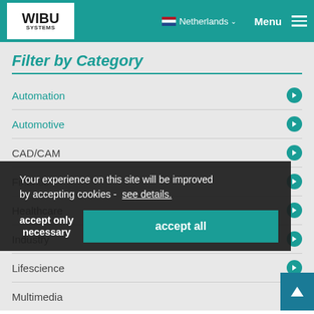WIBU SYSTEMS — Netherlands — Menu
Filter by Category
Automation
Automotive
CAD/CAM
Finance (partially obscured)
Healthcare
Industry
Lifescience
Multimedia
Your experience on this site will be improved by accepting cookies - see details. | accept only necessary | accept all